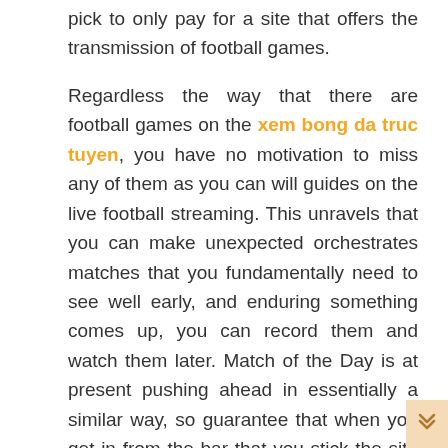pick to only pay for a site that offers the transmission of football games.
Regardless the way that there are football games on the xem bong da truc tuyen, you have no motivation to miss any of them as you can will guides on the live football streaming. This unravels that you can make unexpected orchestrates matches that you fundamentally need to see well early, and enduring something comes up, you can record them and watch them later. Match of the Day is at present pushing ahead in essentially a similar way, so guarantee that when you get in from the bar that you stick the site on. With all